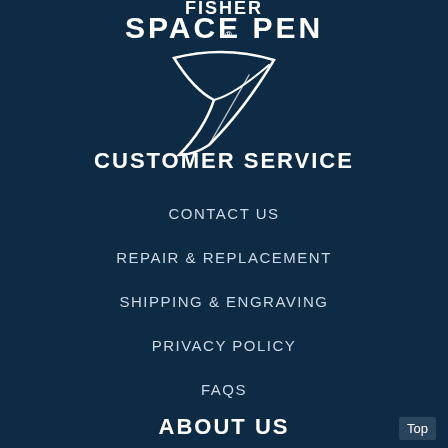[Figure (logo): Fisher Space Pen logo with stylized pen swoosh graphic in white on dark navy background]
CUSTOMER SERVICE
CONTACT US
REPAIR & REPLACEMENT
SHIPPING & ENGRAVING
PRIVACY POLICY
FAQS
ABOUT US
Top